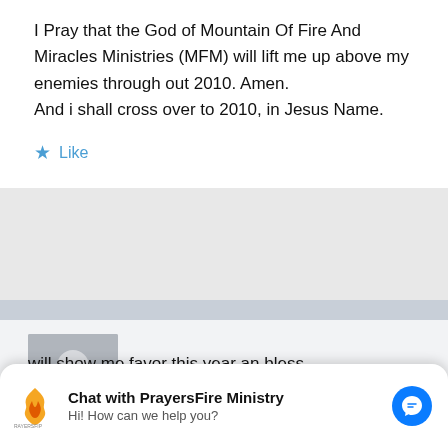I Pray that the God of Mountain Of Fire And Miracles Ministries (MFM) will lift me up above my enemies through out 2010. Amen.
And i shall cross over to 2010, in Jesus Name.
★ Like
[Figure (photo): Default user avatar placeholder — grey square with white silhouette of a person]
sherri | December 31, 2009 at 2:33 pm | Reply
[Figure (logo): PrayersFire Ministry logo — flame icon with text RAYERSFIP]
Chat with PrayersFire Ministry
Hi! How can we help you?
will show me favor this year an bless